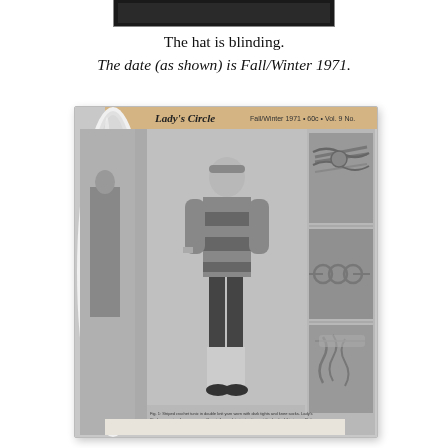[Figure (photo): Top edge of a photo partially visible at the top of the page, dark/black image strip]
The hat is blinding.
The date (as shown) is Fall/Winter 1971.
[Figure (photo): Photograph of a rolled-up magazine (Lady's Circle, Fall/Winter 1971) showing a woman in a crocheted minidress with dark tights and knee-high socks, and smaller photos of decorative rope belts on the right side of the spread.]